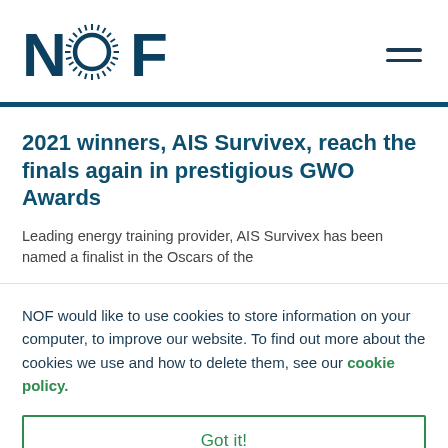[Figure (logo): NOF logo with stylized sunburst 'O' letter in dark teal/navy]
2021 winners, AIS Survivex, reach the finals again in prestigious GWO Awards
Leading energy training provider, AIS Survivex has been named a finalist in the Oscars of the
NOF would like to use cookies to store information on your computer, to improve our website. To find out more about the cookies we use and how to delete them, see our cookie policy.
Got it!